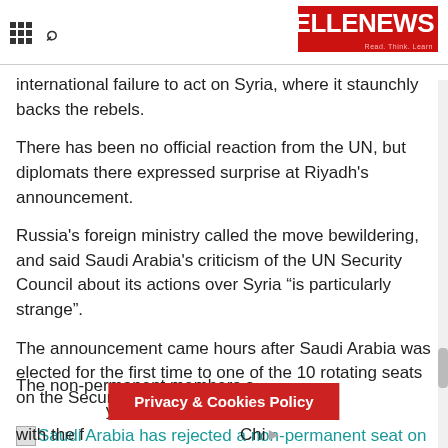BELLENEWS
international failure to act on Syria, where it staunchly backs the rebels.
There has been no official reaction from the UN, but diplomats there expressed surprise at Riyadh's announcement.
Russia's foreign ministry called the move bewildering, and said Saudi Arabia's criticism of the UN Security Council about its actions over Syria “is particularly strange”.
The announcement came hours after Saudi Arabia was elected for the first time to one of the 10 rotating seats on the Security Council.
[Figure (photo): Image placeholder with link: Saudi Arabia has rejected a non-permanent seat on the UN Security Council]
Saudi Arabia has rejected a non-permanent seat on the UN Security Council
The non-permanent members s... years, along with the f... Ch...